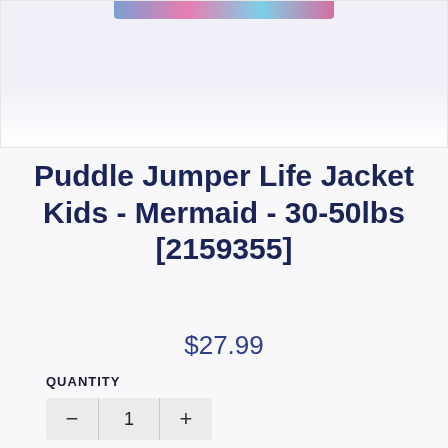[Figure (photo): Partial product image of a mermaid-themed Puddle Jumper life jacket for kids, showing colorful fabric at the top of the frame against a white background]
Puddle Jumper Life Jacket Kids - Mermaid - 30-50lbs [2159355]
$27.99
QUANTITY
1